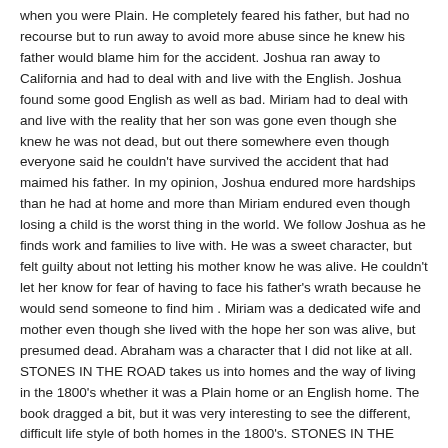when you were Plain. He completely feared his father, but had no recourse but to run away to avoid more abuse since he knew his father would blame him for the accident. Joshua ran away to California and had to deal with and live with the English. Joshua found some good English as well as bad. Miriam had to deal with and live with the reality that her son was gone even though she knew he was not dead, but out there somewhere even though everyone said he couldn't have survived the accident that had maimed his father. In my opinion, Joshua endured more hardships than he had at home and more than Miriam endured even though losing a child is the worst thing in the world. We follow Joshua as he finds work and families to live with. He was a sweet character, but felt guilty about not letting his mother know he was alive. He couldn't let her know for fear of having to face his father's wrath because he would send someone to find him . Miriam was a dedicated wife and mother even though she lived with the hope her son was alive, but presumed dead. Abraham was a character that I did not like at all. STONES IN THE ROAD takes us into homes and the way of living in the 1800's whether it was a Plain home or an English home. The book dragged a bit, but it was very interesting to see the different, difficult life style of both homes in the 1800's. STONES IN THE ROAD was about family, about hardships, about survival, about choices, and about God's influence in your life. I enjoyed the book for the historical aspect. Ms. Moore's writing style